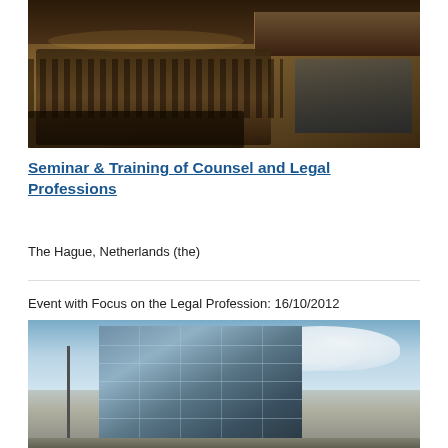[Figure (photo): Conference hall with audience seated in tiered rows, panel of speakers at the front table, warm brown wooden interior]
Seminar & Training of Counsel and Legal Professions
The Hague, Netherlands (the)
Event with Focus on the Legal Profession: 16/10/2012
[Figure (photo): Modern glass-facade building exterior with blue sky and clouds in the background]